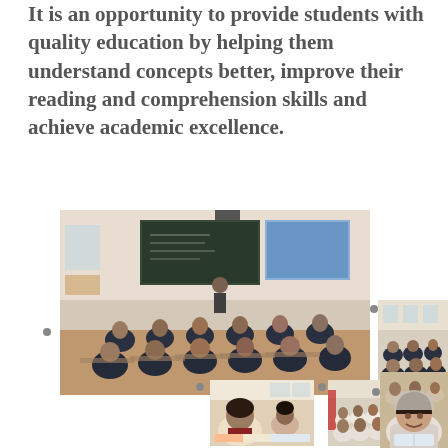It is an opportunity to provide students with quality education by helping them understand concepts better, improve their reading and comprehension skills and achieve academic excellence.
[Figure (photo): Large classroom photo showing students in school uniforms seated at desks facing a teacher at a blackboard with a projected screen. Multiple smaller photos arranged around showing students studying and a packed classroom.]